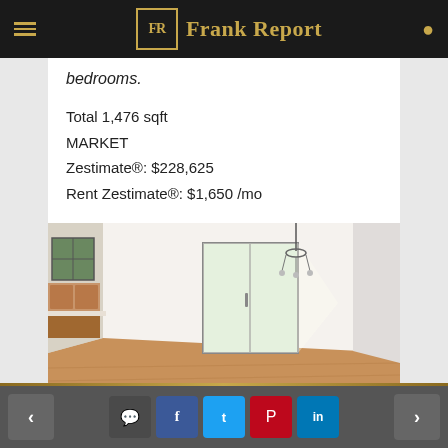Frank Report
bedrooms.
Total 1,476 sqft
MARKET
Zestimate®: $228,625
Rent Zestimate®: $1,650 /mo
[Figure (photo): Interior photo of an empty room with hardwood floors, white walls, a chandelier, sliding glass door with natural light, and a kitchen area with wood cabinets visible on the left.]